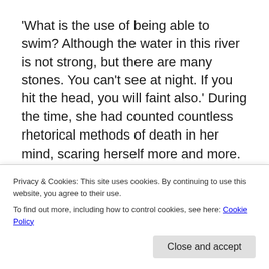'What is the use of being able to swim? Although the water in this river is not strong, but there are many stones. You can't see at night. If you hit the head, you will faint also.' During the time, she had counted countless rhetorical methods of death in her mind, scaring herself more and more.
Yan Ru Yu observed her expression for a while and the suddenly smiled: 'You have been dealing with different ways of my death in your imagination? If you are not an
Lan Ning.  ……
Privacy & Cookies: This site uses cookies. By continuing to use this website, you agree to their use.
To find out more, including how to control cookies, see here: Cookie Policy